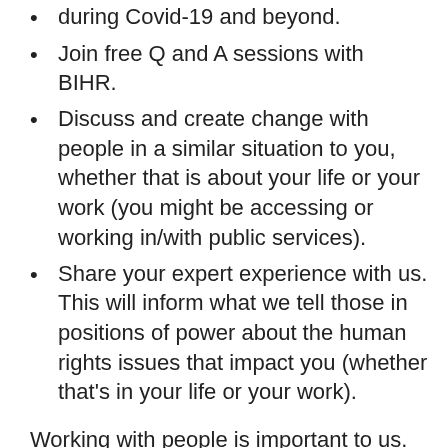during Covid-19 and beyond.
Join free Q and A sessions with BIHR.
Discuss and create change with people in a similar situation to you, whether that is about your life or your work (you might be accessing or working in/with public services).
Share your expert experience with us. This will inform what we tell those in positions of power about the human rights issues that impact you (whether that’s in your life or your work).
Working with people is important to us. As part of our first steps in setting up these Communities of Practice we want to involve you in the decisions we need to make. Which platform should we use? How should we arrange each